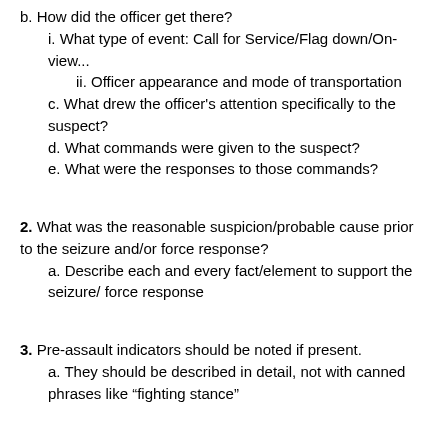b. How did the officer get there?
i. What type of event: Call for Service/Flag down/On-view...
ii. Officer appearance and mode of transportation
c. What drew the officer's attention specifically to the suspect?
d. What commands were given to the suspect?
e. What were the responses to those commands?
2. What was the reasonable suspicion/probable cause prior to the seizure and/or force response?
a. Describe each and every fact/element to support the seizure/ force response
3. Pre-assault indicators should be noted if present.
a. They should be described in detail, not with canned phrases like “fighting stance”